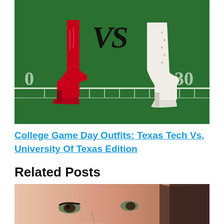[Figure (photo): Two boots on a football field with 'VS' text between them - red cowboy boot on the left and white cowboy boot on the right]
College Game Day Outfits: Texas Tech Vs. University Of Texas Edition
Related Posts
[Figure (photo): Close-up portrait of a woman's face with a small white cross/X mark on her cheek]